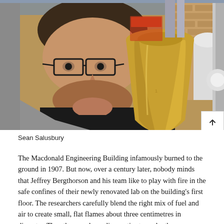[Figure (photo): A man with short dark hair and rectangular glasses looks toward the camera in a laboratory setting. In the foreground is a large gold/brass conical object (a burner nozzle). Background shows lab equipment and brick wall.]
Sean Salusbury
The Macdonald Engineering Building infamously burned to the ground in 1907. But now, over a century later, nobody minds that Jeffrey Bergthorson and his team like to play with fire in the safe confines of their newly renovated lab on the building's first floor. The researchers carefully blend the right mix of fuel and air to create small, flat flames about three centimetres in diameter. Then they use laser diagnostics to probe the combustion